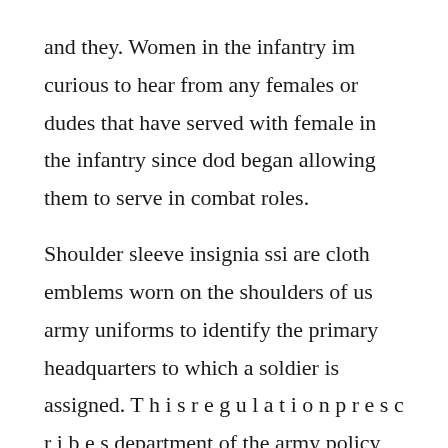and they. Women in the infantry im curious to hear from any females or dudes that have served with female in the infantry since dod began allowing them to serve in combat roles.
Shoulder sleeve insignia ssi are cloth emblems worn on the shoulders of us army uniforms to identify the primary headquarters to which a soldier is assigned. T h i s r e g u l a t i o n p r e s c r i b e s department of the army policy for proper wear and appearance of army uniforms and insignia, as. Soon after, other units going to battle in world war i were